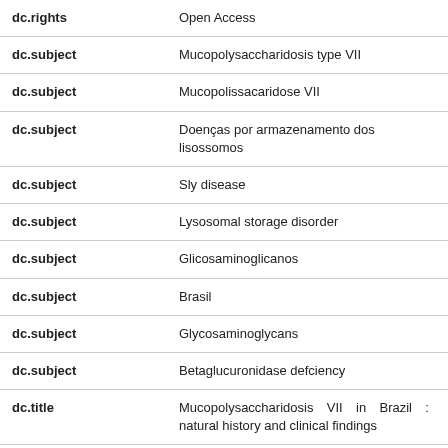| Field | Value | Lang |
| --- | --- | --- |
| dc.rights | Open Access | e |
| dc.subject | Mucopolysaccharidosis type VII | e |
| dc.subject | Mucopolissacaridose VII | p |
| dc.subject | Doenças por armazenamento dos lisossomos | p |
| dc.subject | Sly disease | e |
| dc.subject | Lysosomal storage disorder | e |
| dc.subject | Glicosaminoglicanos | p |
| dc.subject | Brasil | p |
| dc.subject | Glycosaminoglycans | e |
| dc.subject | Betaglucuronidase defciency | e |
| dc.title | Mucopolysaccharidosis VII in Brazil : natural history and clinical findings | p |